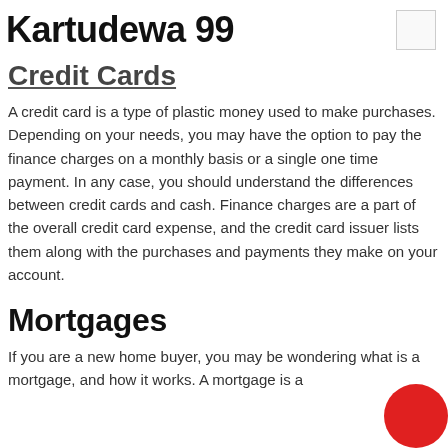Kartudewa 99
Credit Cards
A credit card is a type of plastic money used to make purchases. Depending on your needs, you may have the option to pay the finance charges on a monthly basis or a single one time payment. In any case, you should understand the differences between credit cards and cash. Finance charges are a part of the overall credit card expense, and the credit card issuer lists them along with the purchases and payments they make on your account.
Mortgages
If you are a new home buyer, you may be wondering what is a mortgage, and how it works. A mortgage is a